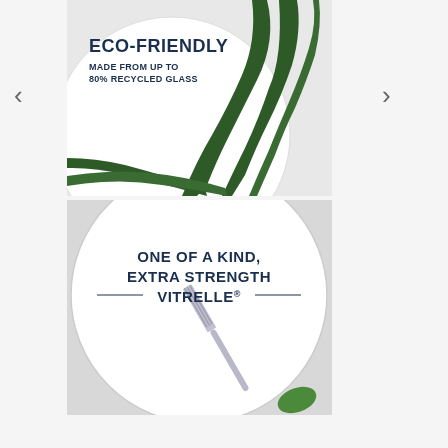[Figure (photo): Top-down photo of a white dinner plate with green palm leaves, overlaid with bold text reading ECO-FRIENDLY and MADE FROM UP TO 80% RECYCLED GLASS]
[Figure (photo): Top-down photo of a white dinner plate with a fork and a green leaf, overlaid with bold text reading ONE OF A KIND, EXTRA STRENGTH VITRELLE®]